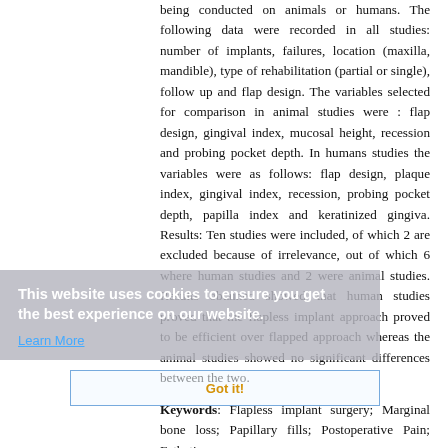being conducted on animals or humans. The following data were recorded in all studies: number of implants, failures, location (maxilla, mandible), type of rehabilitation (partial or single), follow up and flap design. The variables selected for comparison in animal studies were : flap design, gingival index, mucosal height, recession and probing pocket depth. In humans studies the variables were as follows: flap design, plaque index, gingival index, recession, probing pocket depth, papilla index and keratinized gingiva. Results: Ten studies were included, of which 2 are excluded because of irrelevance, out of which 6 where human studies and 2 were animal studies. Results obtained showed that human studies proved that the flapless implant approach proved to be efficient over flapped approach whereas the animal studies showed no significant differences between the two.
Keywords: Flapless implant surgery; Marginal bone loss; Papillary fills; Postoperative Pain; Esthetics